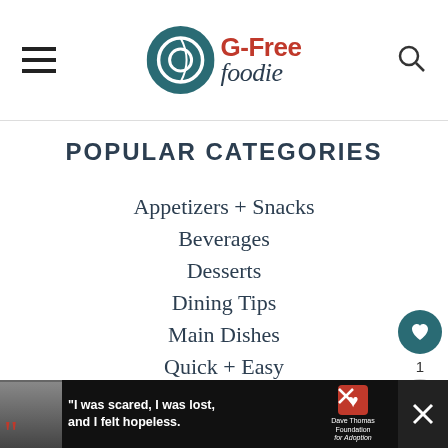G-Free Foodie
POPULAR CATEGORIES
Appetizers + Snacks
Beverages
Desserts
Dining Tips
Main Dishes
Quick + Easy
Salads + Dressings
Soups
Tips + Tricks
"I was scared, I was lost, and I felt hopeless." — Dave Thomas Foundation for Adoption advertisement